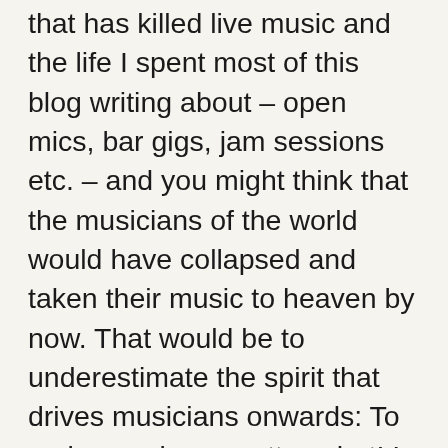that has killed live music and the life I spent most of this blog writing about – open mics, bar gigs, jam sessions etc. – and you might think that the musicians of the world would have collapsed and taken their music to heaven by now. That would be to underestimate the spirit that drives musicians onwards: To make music no matter what! In the last few weeks I have seen a sudden harvest of initiatives, sounds, CDs, gigs and things that to me show how so many of the musicians I have met over the life of this blog – 11 years old last month – have taken advantage of the